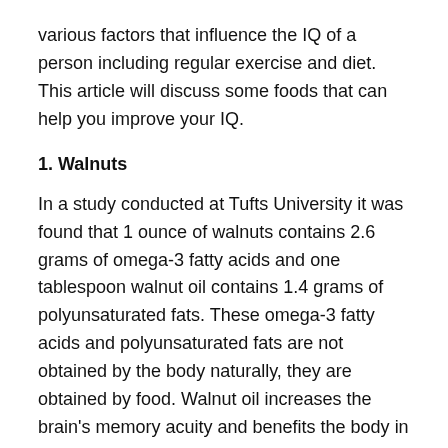various factors that influence the IQ of a person including regular exercise and diet. This article will discuss some foods that can help you improve your IQ.
1. Walnuts
In a study conducted at Tufts University it was found that 1 ounce of walnuts contains 2.6 grams of omega-3 fatty acids and one tablespoon walnut oil contains 1.4 grams of polyunsaturated fats. These omega-3 fatty acids and polyunsaturated fats are not obtained by the body naturally, they are obtained by food. Walnut oil increases the brain's memory acuity and benefits the body in other different ways.
2. Raw eggs
Raw eggs are one of the best and least expensive nutrition-